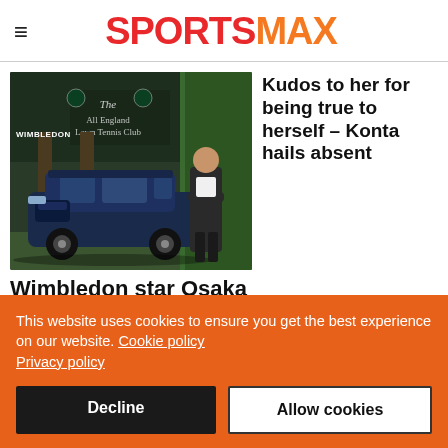SPORTSMAX
[Figure (photo): A Jaguar I-PACE electric car parked in front of the All England Lawn Tennis Club (Wimbledon) building, with a woman in a dark suit standing beside the car. The Wimbledon logo and 'The All England Lawn Tennis Club' text visible on the building facade.]
Kudos to her for being true to herself – Konta hails absent
Wimbledon star Osaka
This website uses cookies to ensure you get the best experience on our website. Cookie policy Privacy policy
Decline
Allow cookies